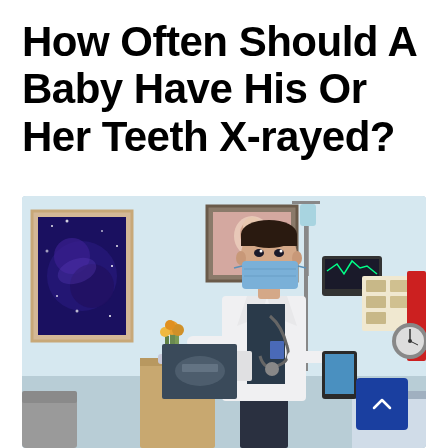How Often Should A Baby Have His Or Her Teeth X-rayed?
[Figure (photo): A male doctor wearing a white coat, stethoscope, and blue surgical mask, standing in a hospital/clinic room, reviewing an X-ray film. Background shows medical equipment, IV stand, a framed picture on a blue wall, and flowers on a bedside table. A blue scroll-up button is in the lower right corner.]